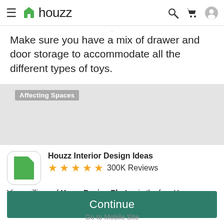houzz
Make sure you have a mix of drawer and door storage to accommodate all the different types of toys.
[Figure (screenshot): Grey banner with 'Affecting Spaces' label]
Houzz Interior Design Ideas
★★★★★ 300K Reviews
View millions of Home Design Photos in the free Houzz iPhone app
Continue
Go to Mobile Site